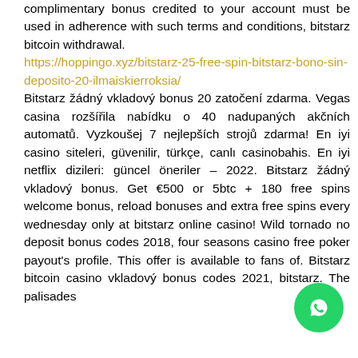complimentary bonus credited to your account must be used in adherence with such terms and conditions, bitstarz bitcoin withdrawal. https://hoppingo.xyz/bitstarz-25-free-spin-bitstarz-bono-sin-deposito-20-ilmaiskierroksia/ Bitstarz žádný vkladový bonus 20 zatočení zdarma. Vegas casina rozšířila nabídku o 40 nadupaných akčních automatů. Vyzkoušej 7 nejlepších strojů zdarma! En iyi casino siteleri, güvenilir, türkçe, canlı casinobahis. En iyi netflix dizileri: güncel öneriler – 2022. Bitstarz žádný vkladový bonus. Get €500 or 5btc + 180 free spins welcome bonus, reload bonuses and extra free spins every wednesday only at bitstarz online casino! Wild tornado no deposit bonus codes 2018, four seasons casino free poker payout's profile. This offer is available to fans of. Bitstarz bitcoin casino vkladový bonus codes 2021, bitstarz. The palisades
[Figure (other): WhatsApp contact button (green circle with phone/chat icon)]